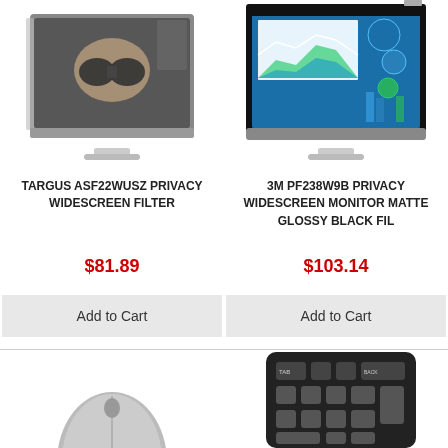[Figure (photo): Monitor with privacy screen filter showing a person with binoculars behind the screen, Targus brand]
[Figure (photo): Monitor with 3M privacy widescreen filter showing a dashboard/analytics screen]
TARGUS ASF22WUSZ PRIVACY WIDESCREEN FILTER
$81.89
3M PF238W9B PRIVACY WIDESCREEN MONITOR MATTE GLOSSY BLACK FIL
$103.14
Add to Cart
Add to Cart
[Figure (photo): Partial view of a grey computer mouse at bottom left]
[Figure (photo): Partial view of a black numeric keypad at bottom right]